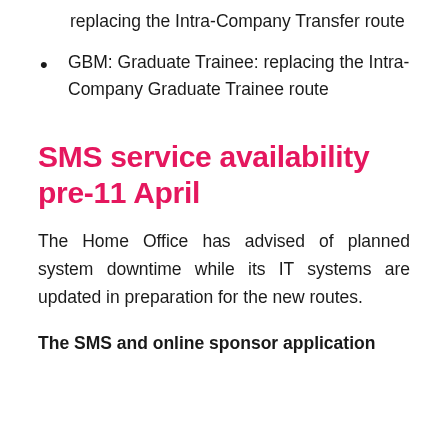replacing the Intra-Company Transfer route
GBM: Graduate Trainee: replacing the Intra-Company Graduate Trainee route
SMS service availability pre-11 April
The Home Office has advised of planned system downtime while its IT systems are updated in preparation for the new routes.
The SMS and online sponsor application